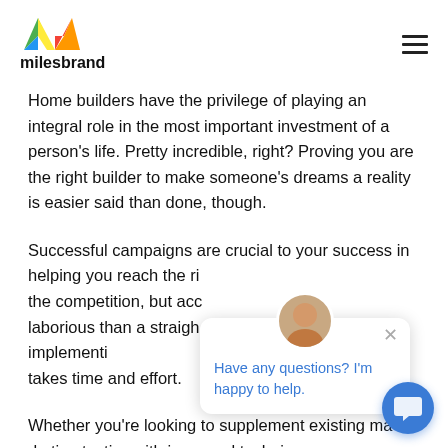[Figure (logo): Milesbrand logo with colorful M mark and bold 'milesbrand' text below]
Home builders have the privilege of playing an integral role in the most important investment of a person's life. Pretty incredible, right? Proving you are the right builder to make someone's dreams a reality is easier said than done, though.
Successful campaigns are crucial to your success in helping you reach the right audience, stand out from the competition, but accomplishing this is often more laborious than a straightforward task. Developing, implementing, and executing a marketing campaign takes time and effort.
Whether you're looking to supplement existing marketing tactics with improved techniques or completely revamp your campaign, you've come to the right place. This